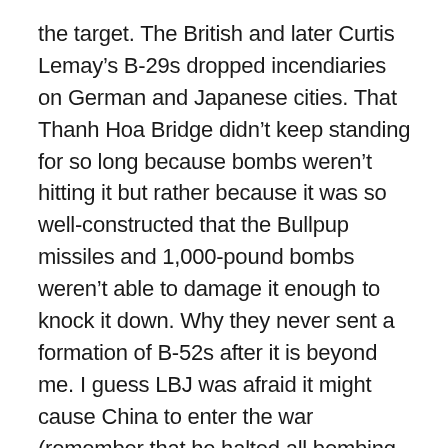the target. The British and later Curtis Lemay's B-29s dropped incendiaries on German and Japanese cities. That Thanh Hoa Bridge didn't keep standing for so long because bombs weren't hitting it but rather because it was so well-constructed that the Bullpup missiles and 1,000-pound bombs weren't able to damage it enough to knock it down. Why they never sent a formation of B-52s after it is beyond me. I guess LBJ was afraid it might cause China to enter the war (remember that he halted all bombing in North Vietnam just before the 1968 election and bombing didn't resume until 1972.)
When it comes to bombs, so-called “smart” weapons are expensive, damned expensive. Conventional bombs don’t cost much – all that’s needed is some TNT, ammonium nitrate or some other explosive and some kind of case. They’re